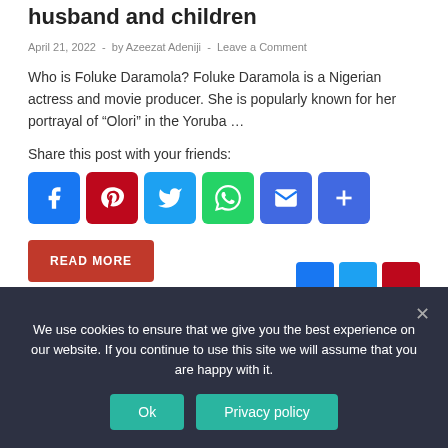husband and children
April 21, 2022 - by Azeezat Adeniji - Leave a Comment
Who is Foluke Daramola? Foluke Daramola is a Nigerian actress and movie producer. She is popularly known for her portrayal of “Olori” in the Yoruba …
Share this post with your friends:
[Figure (infographic): Social sharing icons: Facebook, Pinterest, Twitter, WhatsApp, Email, More]
READ MORE
We use cookies to ensure that we give you the best experience on our website. If you continue to use this site we will assume that you are happy with it.
Ok | Privacy policy